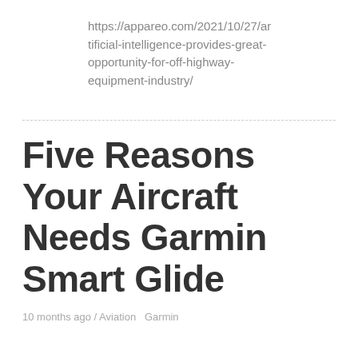https://appareo.com/2021/10/27/artificial-intelligence-provides-great-opportunity-for-off-highway-equipment-industry/
Five Reasons Your Aircraft Needs Garmin Smart Glide
10 months ago / Aviation   Garmin